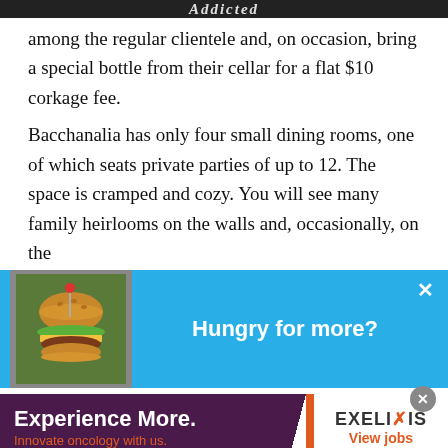Addicted
among the regular clientele and, on occasion, bring a special bottle from their cellar for a flat $10 corkage fee.
Bacchanalia has only four small dining rooms, one of which seats private parties of up to 12. The space is cramped and cozy. You will see many family heirlooms on the walls and, occasionally, on the
[Figure (screenshot): Popup banner with cyan/blue background showing a burger image on the left and text 'Hungry for more?' in bold white, with an X close button in the top right corner.]
[Figure (screenshot): Advertisement banner: left side dark purple with bold white text 'Experience More.' and orange text 'Innovate oncology with us.'; right side white with 'EXELIXIS' logo and orange 'View jobs' text.]